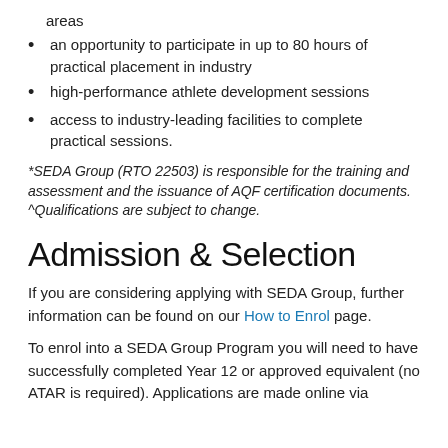areas
an opportunity to participate in up to 80 hours of practical placement in industry
high-performance athlete development sessions
access to industry-leading facilities to complete practical sessions.
*SEDA Group (RTO 22503) is responsible for the training and assessment and the issuance of AQF certification documents.
^Qualifications are subject to change.
Admission & Selection
If you are considering applying with SEDA Group, further information can be found on our How to Enrol page.
To enrol into a SEDA Group Program you will need to have successfully completed Year 12 or approved equivalent (no ATAR is required). Applications are made online via